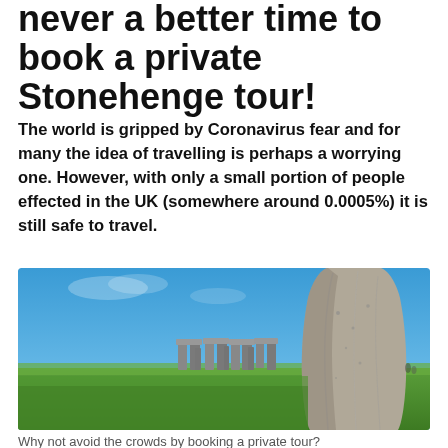never a better time to book a private Stonehenge tour!
The world is gripped by Coronavirus fear and for many the idea of travelling is perhaps a worrying one. However, with only a small portion of people effected in the UK (somewhere around 0.0005%) it is still safe to travel.
[Figure (photo): Photograph of Stonehenge with blue sky background; a large standing stone prominently in the foreground right, with the famous stone circle visible in the mid-ground over a green grass field.]
Why not avoid the crowds by booking a private tour?